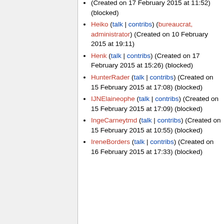(Created on 17 February 2015 at 11:52) (blocked)
Heiko (talk | contribs) (bureaucrat, administrator) (Created on 10 February 2015 at 19:11)
Henk (talk | contribs) (Created on 17 February 2015 at 15:26) (blocked)
HunterRader (talk | contribs) (Created on 15 February 2015 at 17:08) (blocked)
IJNElaineophe (talk | contribs) (Created on 15 February 2015 at 17:09) (blocked)
IngeCarneytmd (talk | contribs) (Created on 15 February 2015 at 10:55) (blocked)
IreneBorders (talk | contribs) (Created on 16 February 2015 at 17:33) (blocked)